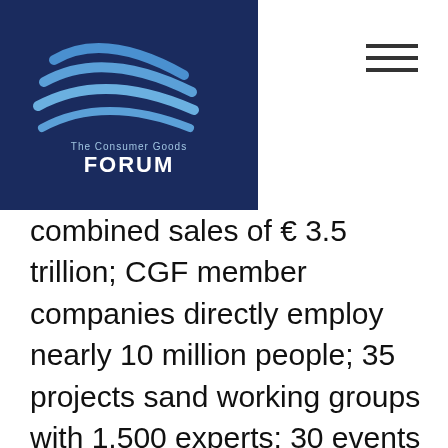[Figure (logo): The Consumer Goods Forum logo on dark blue background with swoosh graphic and text 'The Consumer Goods FORUM']
combined sales of € 3.5 trillion; CGF member companies directly employ nearly 10 million people; 35 projects sand working groups with 1,500 experts; 30 events per year workshops and study tours to large conventions) to identify areas which require collective, measurable action, is developing, agreeing and encouraging the targeted global adoption of practices and standards which do not impede competition, is sharing solutions and best practice examples across and beyond the membership, and is engaging with stakeholders and regional associations to speak for the industry with a common voice